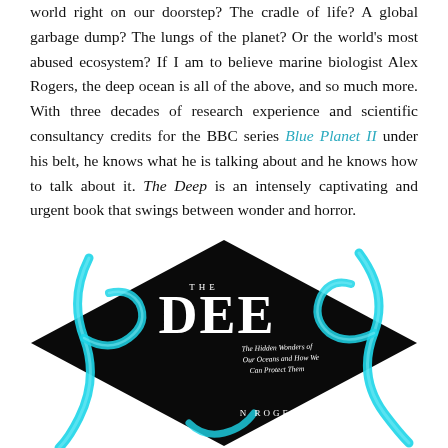world right on our doorstep? The cradle of life? A global garbage dump? The lungs of the planet? Or the world's most abused ecosystem? If I am to believe marine biologist Alex Rogers, the deep ocean is all of the above, and so much more. With three decades of research experience and scientific consultancy credits for the BBC series Blue Planet II under his belt, he knows what he is talking about and he knows how to talk about it. The Deep is an intensely captivating and urgent book that swings between wonder and horror.
[Figure (photo): Book cover of 'The Deep: The Hidden Wonders of Our Oceans and How We Can Protect Them' by Alex Rogers, shown at an angle. Dark black background with glowing cyan/blue tentacle-like forms (octopus or squid tentacles). Title text 'THE DEEP' in large white letters, subtitle and author name visible.]